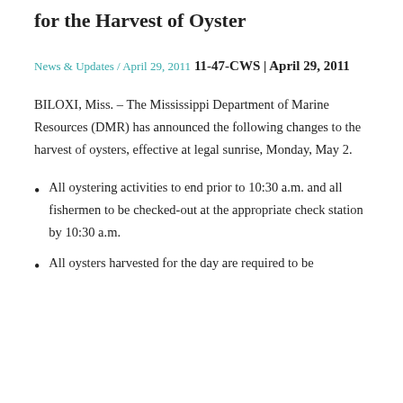for the Harvest of Oyster
News & Updates / April 29, 2011
11-47-CWS | April 29, 2011
BILOXI, Miss. – The Mississippi Department of Marine Resources (DMR) has announced the following changes to the harvest of oysters, effective at legal sunrise, Monday, May 2.
All oystering activities to end prior to 10:30 a.m. and all fishermen to be checked-out at the appropriate check station by 10:30 a.m.
All oysters harvested for the day are required to be